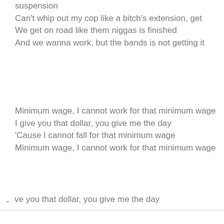suspension
Can't whip out my cop like a bitch's extension, get
We get on road like them niggas is finished
And we wanna work, but the bands is not getting it
Minimum wage, I cannot work for that minimum wage
I give you that dollar, you give me the day
'Cause I cannot fall for that minimum wage
Minimum wage, I cannot work for that minimum wage
ve you that dollar, you give me the day